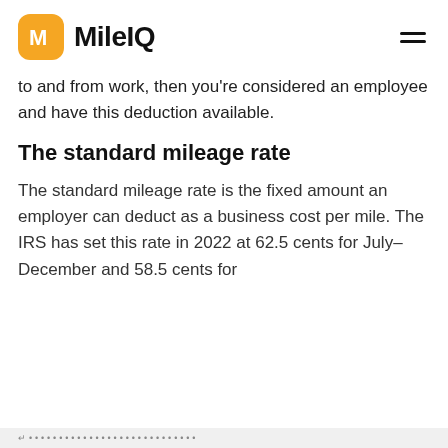MileIQ
to and from work, then you're considered an employee and have this deduction available.
The standard mileage rate
The standard mileage rate is the fixed amount an employer can deduct as a business cost per mile. The IRS has set this rate in 2022 at 62.5 cents for July-December and 58.5 cents for
Are you tracking your miles yet?
Use MileIQ to keep a full, IRS friendly mileage log.
Sign Up